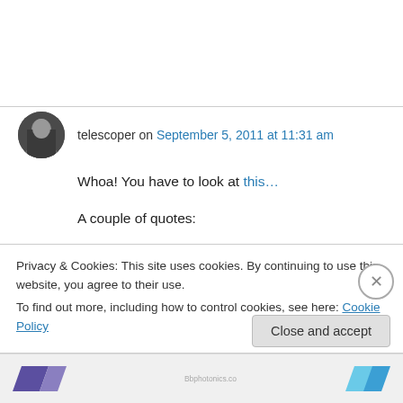telescoper on September 5, 2011 at 11:31 am
Whoa! You have to look at this…
A couple of quotes:
“Research Libraries UK, a network of libraries of the Russell Group universities and national libraries, has already warned journal publishers Wiley and Elsevier that they will not renew...
Privacy & Cookies: This site uses cookies. By continuing to use this website, you agree to their use.
To find out more, including how to control cookies, see here: Cookie Policy
Close and accept